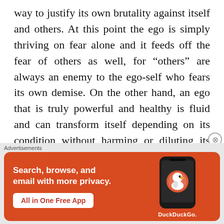way to justify its own brutality against itself and others. At this point the ego is simply thriving on fear alone and it feeds off the fear of others as well, for “others” are always an enemy to the ego-self who fears its own demise. On the other hand, an ego that is truly powerful and healthy is fluid and can transform itself depending on its condition without harming or diluting its integrity. The healthy ego embraces difference and truly stands in love without compromising its integrity. This healthy state of ego is not easy to achieve in a culture that celebrates the unhealthy ego.
Advertisements
[Figure (infographic): DuckDuckGo advertisement banner with orange background. Left side shows bold white text: 'Search, browse, and email with more privacy.' with a white button 'All in One Free App'. Right side shows a smartphone with the DuckDuckGo duck logo and the text 'DuckDuckGo.' below.]